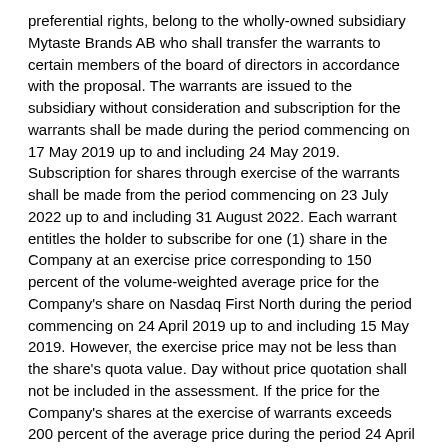preferential rights, belong to the wholly-owned subsidiary Mytaste Brands AB who shall transfer the warrants to certain members of the board of directors in accordance with the proposal. The warrants are issued to the subsidiary without consideration and subscription for the warrants shall be made during the period commencing on 17 May 2019 up to and including 24 May 2019. Subscription for shares through exercise of the warrants shall be made from the period commencing on 23 July 2022 up to and including 31 August 2022. Each warrant entitles the holder to subscribe for one (1) share in the Company at an exercise price corresponding to 150 percent of the volume-weighted average price for the Company's share on Nasdaq First North during the period commencing on 24 April 2019 up to and including 15 May 2019. However, the exercise price may not be less than the share's quota value. Day without price quotation shall not be included in the assessment. If the price for the Company's shares at the exercise of warrants exceeds 200 percent of the average price during the period 24 April 2019 through 15 May 2019, then the exercise price will increase SEK by SEK by the amount of more than 200 percent. Upon exercise of all warrants in the Incentive Program 2019/2022 A, a maximum of 240,000 shares may be issued, which is equivalent to approximately 0.78 percent of the total number of outstanding shares and votes in the Company. The calculation is based on the maximum number of shares and votes which can be issued divided with the total number of shares and votes after such issue. Upon full exercise of the warrants, the Company's share capital will increase with SEK 120,000.
The AGM resolved, in accordance with the major shareholders'